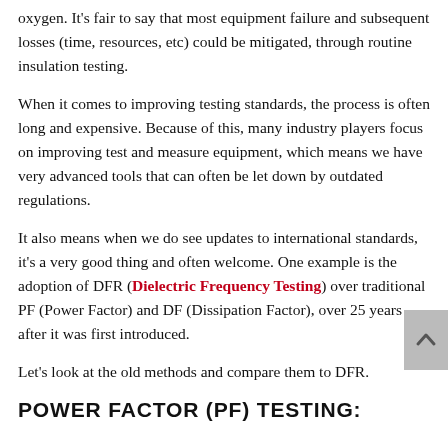oxygen. It's fair to say that most equipment failure and subsequent losses (time, resources, etc) could be mitigated, through routine insulation testing.
When it comes to improving testing standards, the process is often long and expensive. Because of this, many industry players focus on improving test and measure equipment, which means we have very advanced tools that can often be let down by outdated regulations.
It also means when we do see updates to international standards, it's a very good thing and often welcome. One example is the adoption of DFR (Dielectric Frequency Testing) over traditional PF (Power Factor) and DF (Dissipation Factor), over 25 years after it was first introduced.
Let's look at the old methods and compare them to DFR.
POWER FACTOR (PF) TESTING: